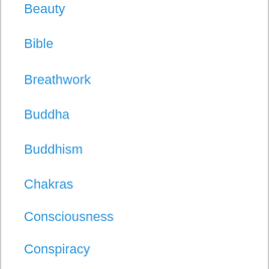Beauty
Bible
Breathwork
Buddha
Buddhism
Chakras
Consciousness
Conspiracy
Conspiracy Theory
Covid
Divination